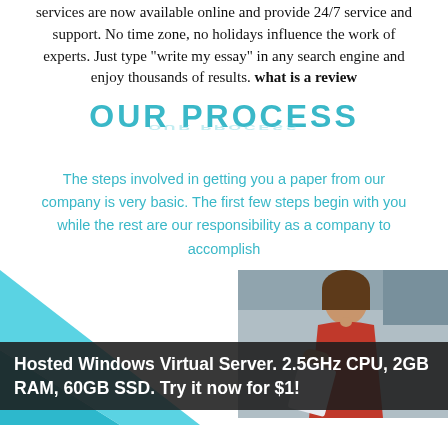services are now available online and provide 24/7 service and support. No time zone, no holidays influence the work of experts. Just type "write my essay" in any search engine and enjoy thousands of results. what is a review
OUR PROCESS
The steps involved in getting you a paper from our company is very basic. The first few steps begin with you while the rest are our responsibility as a company to accomplish
[Figure (photo): Woman in red top holding papers, thinking, with teal geometric shape overlay on left side]
Hosted Windows Virtual Server. 2.5GHz CPU, 2GB RAM, 60GB SSD. Try it now for $1!